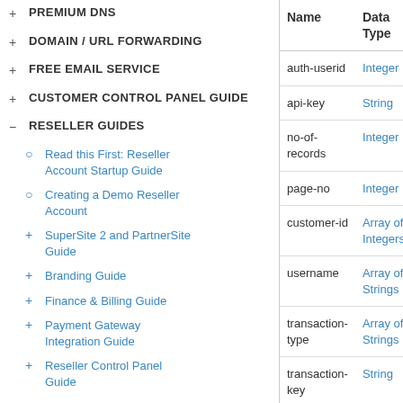+ PREMIUM DNS
+ DOMAIN / URL FORWARDING
+ FREE EMAIL SERVICE
+ CUSTOMER CONTROL PANEL GUIDE
- RESELLER GUIDES
○ Read this First: Reseller Account Startup Guide
○ Creating a Demo Reseller Account
+ SuperSite 2 and PartnerSite Guide
+ Branding Guide
+ Finance & Billing Guide
+ Payment Gateway Integration Guide
+ Reseller Control Panel Guide
+ Product Setup Guides
- Reseller API Guide
- HTTP API
| Name | Data Type |
| --- | --- |
| auth-userid | Integer |
| api-key | String |
| no-of-records | Integer |
| page-no | Integer |
| customer-id | Array of Integers |
| username | Array of Strings |
| transaction-type | Array of Strings |
| transaction-key | String |
| transaction-id | Array of Integers |